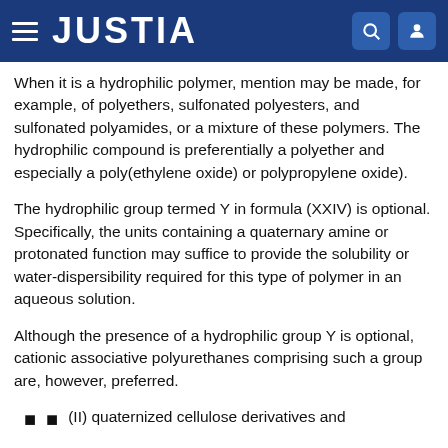JUSTIA
When it is a hydrophilic polymer, mention may be made, for example, of polyethers, sulfonated polyesters, and sulfonated polyamides, or a mixture of these polymers. The hydrophilic compound is preferentially a polyether and especially a poly(ethylene oxide) or polypropylene oxide).
The hydrophilic group termed Y in formula (XXIV) is optional. Specifically, the units containing a quaternary amine or protonated function may suffice to provide the solubility or water-dispersibility required for this type of polymer in an aqueous solution.
Although the presence of a hydrophilic group Y is optional, cationic associative polyurethanes comprising such a group are, however, preferred.
(II) quaternized cellulose derivatives and